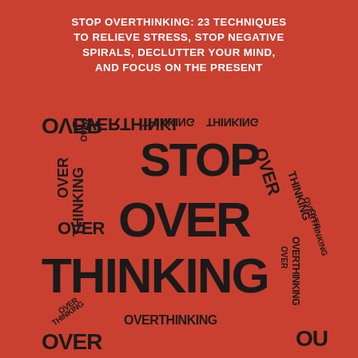STOP OVERTHINKING: 23 TECHNIQUES TO RELIEVE STRESS, STOP NEGATIVE SPIRALS, DECLUTTER YOUR MIND, AND FOCUS ON THE PRESENT
[Figure (illustration): A word cloud shaped like a human head in profile, filled with the words 'STOP OVER THINKING' repeated in various sizes and orientations, rendered in black on a red/orange background. The largest words read 'STOP', 'OVER', 'THINKING' stacked centrally, with smaller repetitions of 'overthinking' arranged around the perimeter in different orientations including rotated and mirrored text.]